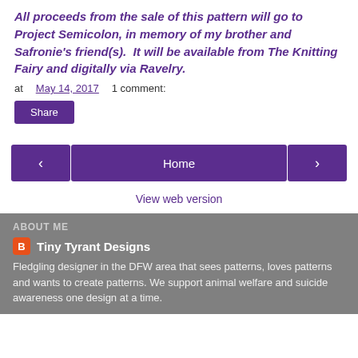All proceeds from the sale of this pattern will go to Project Semicolon, in memory of my brother and Safronie's friend(s).  It will be available from The Knitting Fairy and digitally via Ravelry.
at May 14, 2017   1 comment:
Share
‹  Home  ›
View web version
ABOUT ME
Tiny Tyrant Designs
Fledgling designer in the DFW area that sees patterns, loves patterns and wants to create patterns. We support animal welfare and suicide awareness one design at a time.